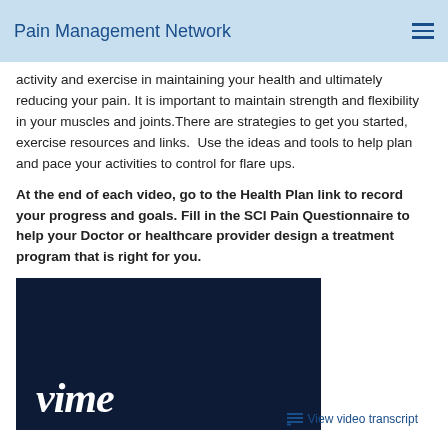Pain Management Network
activity and exercise in maintaining your health and ultimately reducing your pain. It is important to maintain strength and flexibility in your muscles and joints.There are strategies to get you started, exercise resources and links.  Use the ideas and tools to help plan and pace your activities to control for flare ups.
At the end of each video, go to the Health Plan link to record your progress and goals. Fill in the SCI Pain Questionnaire to help your Doctor or healthcare provider design a treatment program that is right for you.
[Figure (screenshot): Vimeo video player thumbnail showing dark navy background with partial Vimeo logo text in white italic font]
View video transcript